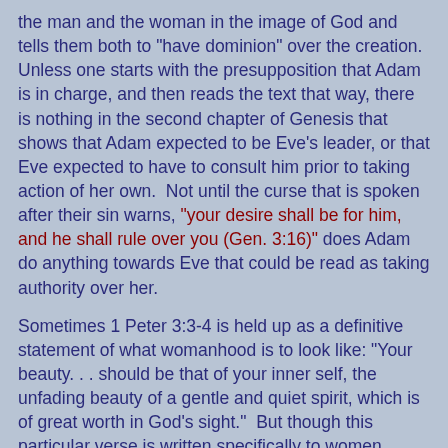the man and the woman in the image of God and tells them both to "have dominion" over the creation.  Unless one starts with the presupposition that Adam is in charge, and then reads the text that way, there is nothing in the second chapter of Genesis that shows that Adam expected to be Eve's leader, or that Eve expected to have to consult him prior to taking action of her own.  Not until the curse that is spoken after their sin warns, "your desire shall be for him, and he shall rule over you (Gen. 3:16)" does Adam do anything towards Eve that could be read as taking authority over her.
Sometimes 1 Peter 3:3-4 is held up as a definitive statement of what womanhood is to look like: "Your beauty. . . should be that of your inner self, the unfading beauty of a gentle and quiet spirit, which is of great worth in God's sight."  But though this particular verse is written specifically to women, Rachel Held Evans' book A Year of Biblical Womanhood accurately states:
What they forgot to tell us in Sunday School is that the "gentle and quiet spirit" Peter wrote